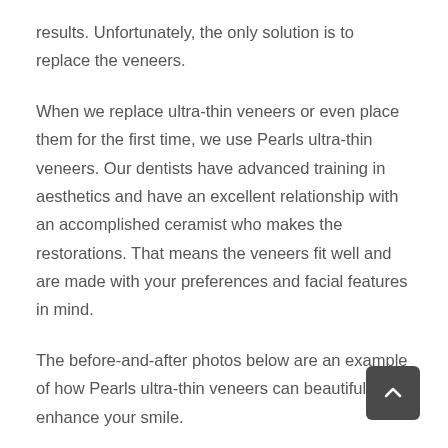results. Unfortunately, the only solution is to replace the veneers.
When we replace ultra-thin veneers or even place them for the first time, we use Pearls ultra-thin veneers. Our dentists have advanced training in aesthetics and have an excellent relationship with an accomplished ceramist who makes the restorations. That means the veneers fit well and are made with your preferences and facial features in mind.
The before-and-after photos below are an example of how Pearls ultra-thin veneers can beautifully enhance your smile.